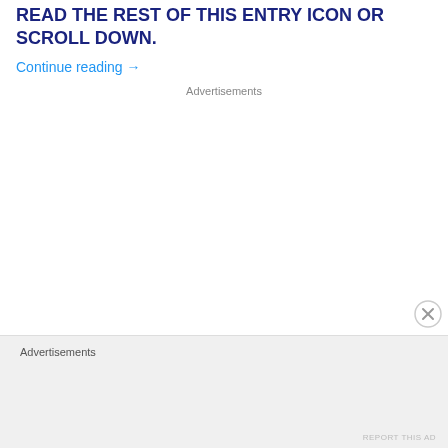READ THE REST OF THIS ENTRY ICON OR SCROLL DOWN.
Continue reading →
Advertisements
Advertisements
REPORT THIS AD